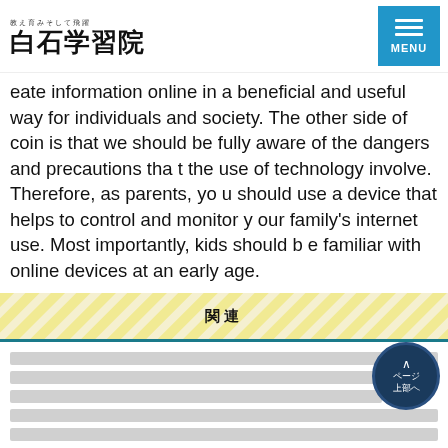白石学習院
eate information online in a beneficial and useful way for individuals and society. The other side of coin is that we should be fully aware of the dangers and precautions that the use of technology involve. Therefore, as parents, you should use a device that helps to control and monitor your family's internet use. Most importantly, kids should be familiar with online devices at an early age.
関連
[placeholder obscured Japanese text lines]